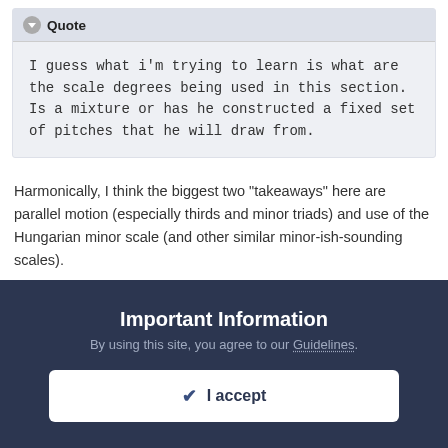Quote — I guess what i'm trying to learn is what are the scale degrees being used in this section. Is a mixture or has he constructed a fixed set of pitches that he will draw from.
Harmonically, I think the biggest two "takeaways" here are parallel motion (especially thirds and minor triads) and use of the Hungarian minor scale (and other similar minor-ish-sounding scales).
Quote — I have searched for a while this topic and found an interesting thread on a wonderful forum that talked about
Important Information
By using this site, you agree to our Guidelines.
✓ I accept